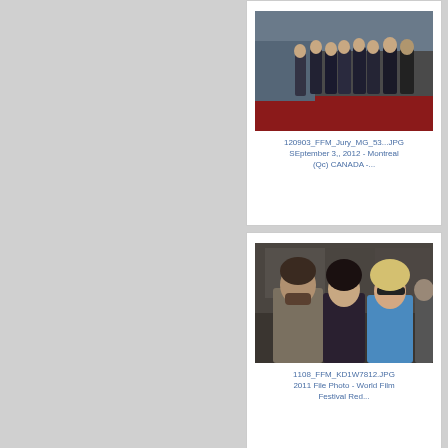[Figure (photo): Group of people in formal attire standing on a red carpet at an event in Montreal, Canada, September 3, 2012]
120903_FFM_Jury_MG_53...JPG
SEptember 3,, 2012 - Montreal (Qc) CANADA -...
[Figure (photo): Three people posing together at the World Film Festival Red Carpet event in 2011]
1108_FFM_KD1W7812.JPG
2011 File Photo - World Film Festival Red...